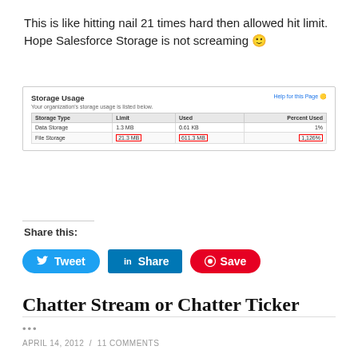This is like hitting nail 21 times hard then allowed hit limit. Hope Salesforce Storage is not screaming 🙂
[Figure (screenshot): Storage Usage table screenshot showing Data Storage (1.3 MB limit, 0.61 KB used, 1%) and File Storage (21.3 MB limit, highlighted in red, 611.3 MB used highlighted in red, 1,126% highlighted in red)]
Share this:
Tweet   Share   Save
Chatter Stream or Chatter Ticker
•••
APRIL 14, 2012  /  11 COMMENTS